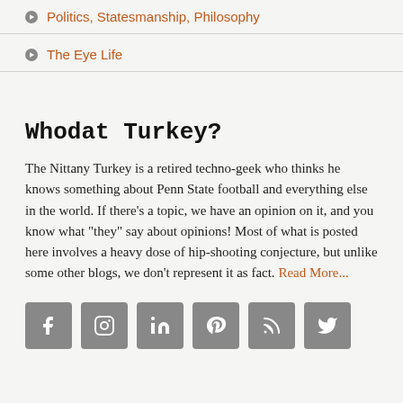Politics, Statesmanship, Philosophy
The Eye Life
Whodat Turkey?
The Nittany Turkey is a retired techno-geek who thinks he knows something about Penn State football and everything else in the world. If there's a topic, we have an opinion on it, and you know what "they" say about opinions! Most of what is posted here involves a heavy dose of hip-shooting conjecture, but unlike some other blogs, we don't represent it as fact. Read More...
[Figure (infographic): Row of 6 social media icon buttons (Facebook, Instagram, LinkedIn, Pinterest, RSS, Twitter) in gray square rounded tiles]